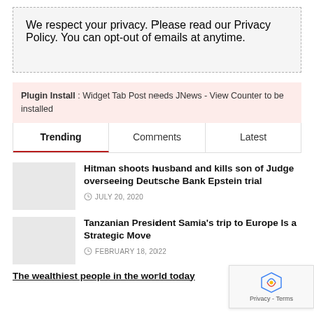We respect your privacy. Please read our Privacy Policy. You can opt-out of emails at anytime.
Plugin Install : Widget Tab Post needs JNews - View Counter to be installed
Trending | Comments | Latest
Hitman shoots husband and kills son of Judge overseeing Deutsche Bank Epstein trial
JULY 20, 2020
Tanzanian President Samia's trip to Europe Is a Strategic Move
FEBRUARY 18, 2022
The wealthiest people in the world today